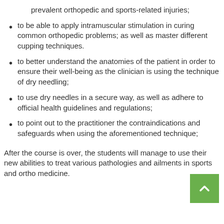prevalent orthopedic and sports-related injuries;
to be able to apply intramuscular stimulation in curing common orthopedic problems; as well as master different cupping techniques.
to better understand the anatomies of the patient in order to ensure their well-being as the clinician is using the technique of dry needling;
to use dry needles in a secure way, as well as adhere to official health guidelines and regulations;
to point out to the practitioner the contraindications and safeguards when using the aforementioned technique;
After the course is over, the students will manage to use their new abilities to treat various pathologies and ailments in sports and ortho medicine.